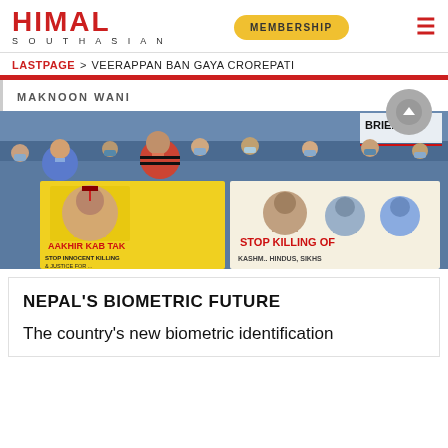HIMAL SOUTHASIAN | MEMBERSHIP
LASTPAGE > VEERAPPAN BAN GAYA CROREPATI
MAKNOON WANI
[Figure (photo): Protest crowd holding banners reading 'AAKHIR KAB TAK STOP INNOCENT KILLING & JUSTICE FOR...' and 'STOP KILLING OF KASHMIR HINDUS, SIKHS' — people wearing face masks, some raising fists]
NEPAL'S BIOMETRIC FUTURE
The country's new biometric identification